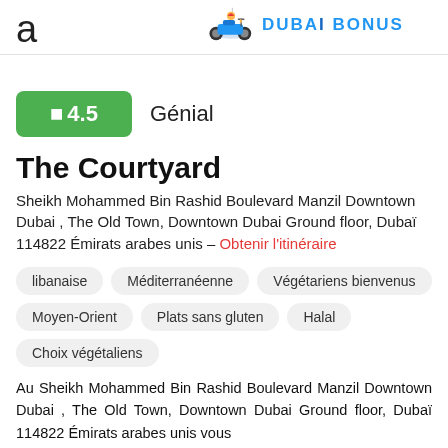a   DUBAI BONUS
4.5   Génial
The Courtyard
Sheikh Mohammed Bin Rashid Boulevard Manzil Downtown Dubai , The Old Town, Downtown Dubai Ground floor, Dubaï 114822 Émirats arabes unis – Obtenir l'itinéraire
libanaise
Méditerranéenne
Végétariens bienvenus
Moyen-Orient
Plats sans gluten
Halal
Choix végétaliens
Au Sheikh Mohammed Bin Rashid Boulevard Manzil Downtown Dubai , The Old Town, Downtown Dubai Ground floor, Dubaï 114822 Émirats arabes unis vous